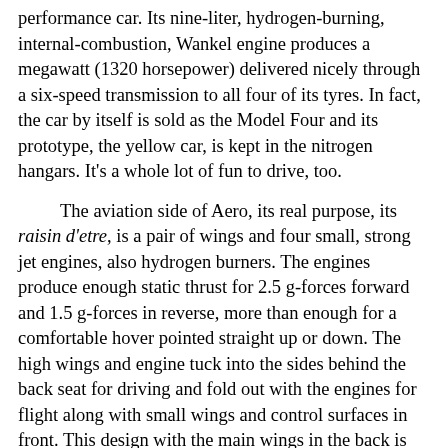performance car. Its nine-liter, hydrogen-burning, internal-combustion, Wankel engine produces a megawatt (1320 horsepower) delivered nicely through a six-speed transmission to all four of its tyres. In fact, the car by itself is sold as the Model Four and its prototype, the yellow car, is kept in the nitrogen hangars. It's a whole lot of fun to drive, too.

The aviation side of Aero, its real purpose, its raisin d'etre, is a pair of wings and four small, strong jet engines, also hydrogen burners. The engines produce enough static thrust for 2.5 g-forces forward and 1.5 g-forces in reverse, more than enough for a comfortable hover pointed straight up or down. The high wings and engine tuck into the sides behind the back seat for driving and fold out with the engines for flight along with small wings and control surfaces in front. This design with the main wings in the back is called a "canard." The top engines are mounted on the wings while the bottom engines live on the sides of the car.